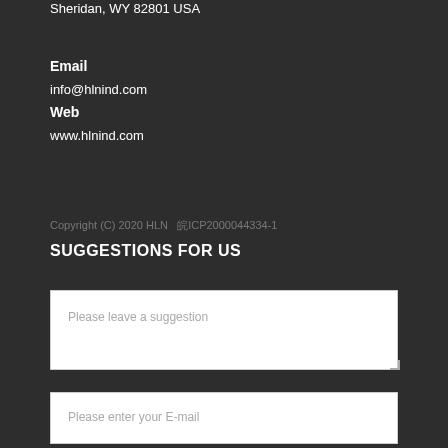Sheridan, WY 82801 USA
Email
info@hlnind.com
Web
www.hlnind.com
Copyright (C) 2020 HLN   皖ICP2000044334-1
SUGGESTIONS FOR US
Please leave a suggestion
Please enter your E-mail